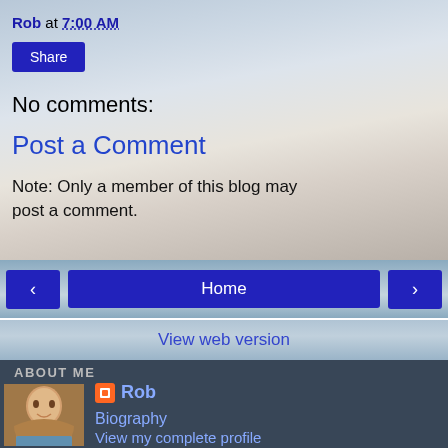Rob at 7:00 AM
Share
No comments:
Post a Comment
Note: Only a member of this blog may post a comment.
< Home > View web version
ABOUT ME
Rob
Biography
View my complete profile